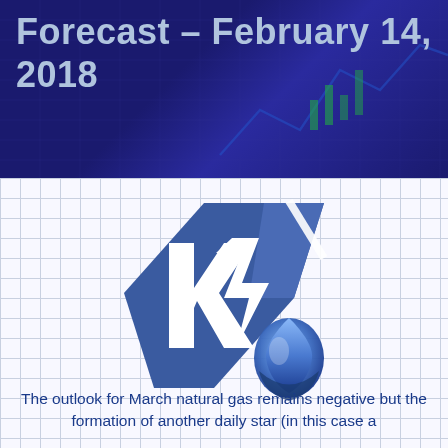Forecast – February 14, 2018
[Figure (logo): KN Market logo — a blue diamond/parallelogram shape with white 'K' letter and a lightning bolt/chart line graphic, overlaid with a blue flame/water drop icon]
The outlook for March natural gas remains negative but the formation of another daily star (in this case a